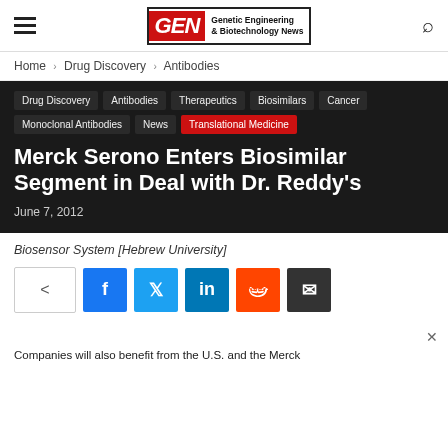GEN Genetic Engineering & Biotechnology News
Home › Drug Discovery › Antibodies
Drug Discovery
Antibodies
Therapeutics
Biosimilars
Cancer
Monoclonal Antibodies
News
Translational Medicine
Merck Serono Enters Biosimilar Segment in Deal with Dr. Reddy's
June 7, 2012
Biosensor System [Hebrew University]
Share buttons: Facebook, Twitter, LinkedIn, Reddit, Email